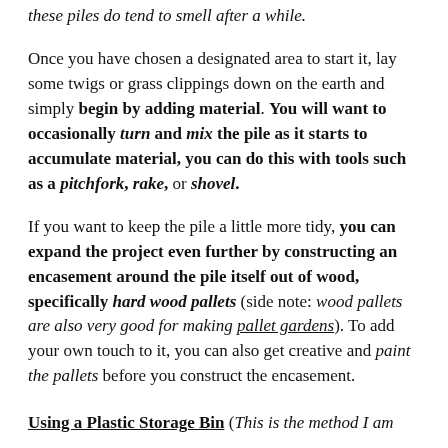these piles do tend to smell after a while.
Once you have chosen a designated area to start it, lay some twigs or grass clippings down on the earth and simply begin by adding material. You will want to occasionally turn and mix the pile as it starts to accumulate material, you can do this with tools such as a pitchfork, rake, or shovel.
If you want to keep the pile a little more tidy, you can expand the project even further by constructing an encasement around the pile itself out of wood, specifically hard wood pallets (side note: wood pallets are also very good for making pallet gardens). To add your own touch to it, you can also get creative and paint the pallets before you construct the encasement.
Using a Plastic Storage Bin (This is the method I am